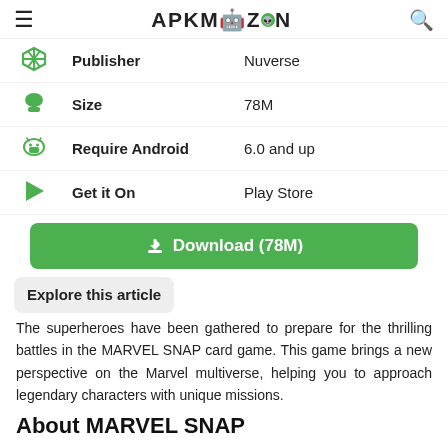APKMAZON
| Icon | Label | Value |
| --- | --- | --- |
| [publisher icon] | Publisher | Nuverse |
| [size icon] | Size | 78M |
| [android icon] | Require Android | 6.0 and up |
| [play store icon] | Get it On | Play Store |
Download (78M)
Explore this article
The superheroes have been gathered to prepare for the thrilling battles in the MARVEL SNAP card game. This game brings a new perspective on the Marvel multiverse, helping you to approach legendary characters with unique missions.
About MARVEL SNAP